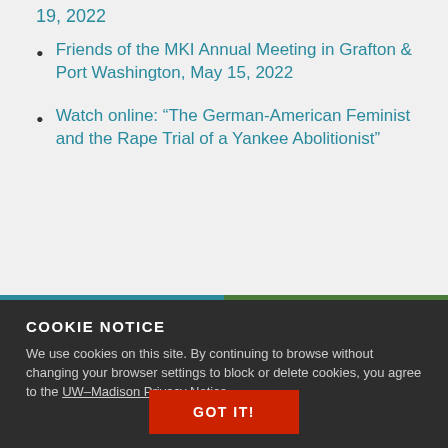19, 2022
Friends of the MKI Annual Meeting in Grafton & Port Washington, May 15, 2022
Watch online: “The German-American Feminist and the Rape Trial of a Yankee Abolitionist”
COOKIE NOTICE
We use cookies on this site. By continuing to browse without changing your browser settings to block or delete cookies, you agree to the UW–Madison Privacy Notice.
GOT IT!